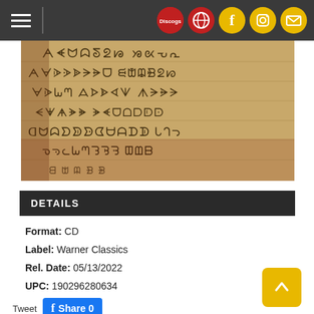Navigation bar with hamburger menu and social icons (Discogs, Facebook, Instagram, Email)
[Figure (photo): Aged paper with handwritten text in an unfamiliar/ancient script, written in horizontal lines on lined paper with a brownish-yellow tone.]
DETAILS
Format: CD
Label: Warner Classics
Rel. Date: 05/13/2022
UPC: 190296280634
Tweet   Share 0